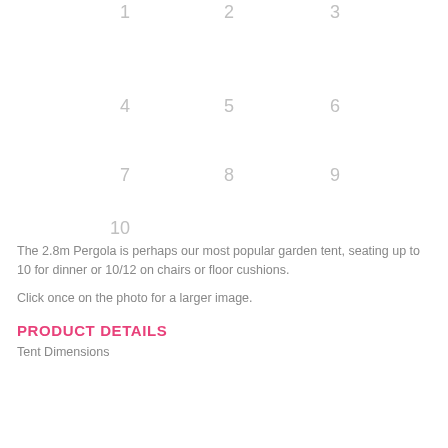[Figure (other): Photo grid with numbered image placeholders: 1, 2, 3 (top row), 4, 5, 6 (middle row), 7, 8, 9 (second lower row), 10 (bottom left)]
The 2.8m Pergola is perhaps our most popular garden tent, seating up to 10 for dinner or 10/12 on chairs or floor cushions.
Click once on the photo for a larger image.
PRODUCT DETAILS
Tent Dimensions